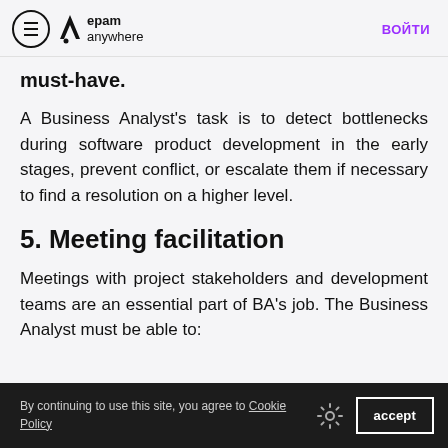epam anywhere | ВОЙТИ
must-have.
A Business Analyst's task is to detect bottlenecks during software product development in the early stages, prevent conflict, or escalate them if necessary to find a resolution on a higher level.
5. Meeting facilitation
Meetings with project stakeholders and development teams are an essential part of BA's job. The Business Analyst must be able to:
By continuing to use this site, you agree to Cookie Policy